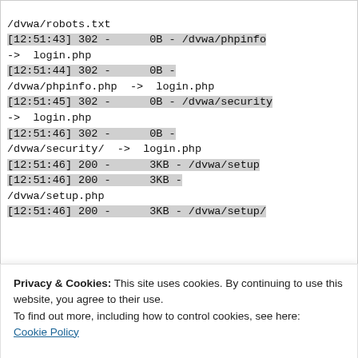/dvwa/robots.txt
[12:51:43] 302 -      0B - /dvwa/phpinfo
-> login.php
[12:51:44] 302 -      0B -
/dvwa/phpinfo.php  ->  login.php
[12:51:45] 302 -      0B - /dvwa/security
-> login.php
[12:51:46] 302 -      0B -
/dvwa/security/  ->  login.php
[12:51:46] 200 -      3KB - /dvwa/setup
[12:51:46] 200 -      3KB -
/dvwa/setup.php
[12:51:46] 200 -      3KB - /dvwa/setup/

Task Completed
Privacy & Cookies: This site uses cookies. By continuing to use this website, you agree to their use.
To find out more, including how to control cookies, see here:
Cookie Policy
Close and accept
of threads, and size of the current Wordlist (in